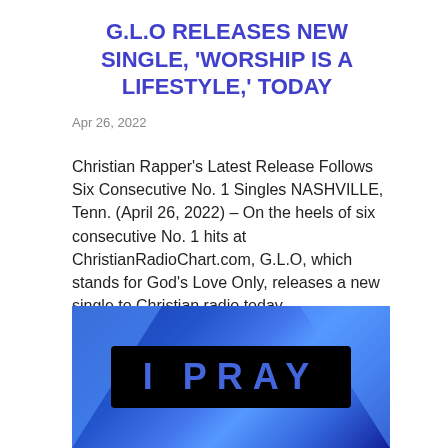G.L.O RELEASES NEW SINGLE, 'WORSHIP IS A LIFESTYLE,' TODAY
Apr 26, 2022
Christian Rapper's Latest Release Follows Six Consecutive No. 1 Singles NASHVILLE, Tenn. (April 26, 2022) – On the heels of six consecutive No. 1 hits at ChristianRadioChart.com, G.L.O, which stands for God's Love Only, releases a new single to Christian radio today....
[Figure (photo): Album art featuring the text 'I PRAY' in blue letters on a black background, set against a blue geometric background with triangular shapes.]